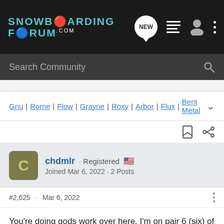SNOWBOARDING FORUM.com
Search Community
Gnu | Rome | Flow | Grayne | Roxy | Arbor | Flux | Bent Metal
chdmlr · Registered 🇺🇸 Joined Mar 6, 2022 · 2 Posts
#2,625 · Mar 6, 2022
You're doing gods work over here. I'm on pair 6 (six) of boots this season after retiring my old 32s and still experiencing foot